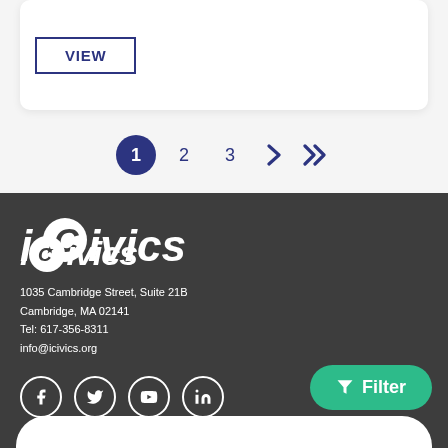[Figure (screenshot): White card with a VIEW button outlined in dark blue]
1  2  3  >  >>
[Figure (logo): iCivics logo in white italic bold text with a star icon]
1035 Cambridge Street, Suite 21B
Cambridge, MA 02141
Tel: 617-356-8311
info@icivics.org
[Figure (infographic): Social media icons: Facebook, Twitter, YouTube, LinkedIn]
Filter